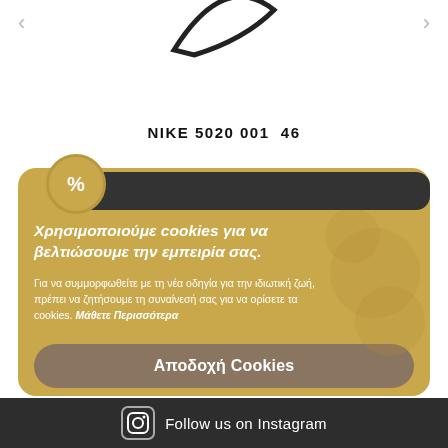[Figure (illustration): Partial Nike swoosh logo visible at top center, cropped]
NIKE 5020 001  46
[Figure (screenshot): Cookie consent banner with gold/tan background. Heading: Χρησιμοποιούμε cookies για να βελτιώσουμε την εμπειρία σας. Body text in Greek about privacy policy compliance. Accept cookies button.]
Follow us on Instagram